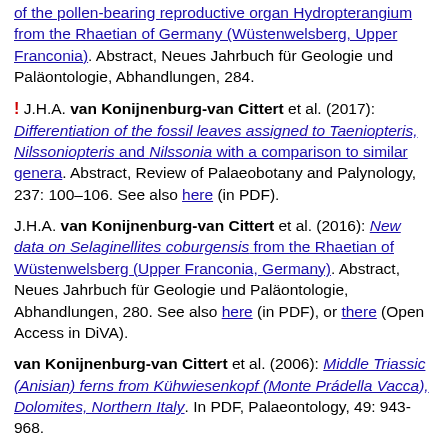of the pollen-bearing reproductive organ Hydropterangium from the Rhaetian of Germany (Wüstenwelsberg, Upper Franconia). Abstract, Neues Jahrbuch für Geologie und Paläontologie, Abhandlungen, 284.
! J.H.A. van Konijnenburg-van Cittert et al. (2017): Differentiation of the fossil leaves assigned to Taeniopteris, Nilssoniopteris and Nilssonia with a comparison to similar genera. Abstract, Review of Palaeobotany and Palynology, 237: 100–106. See also here (in PDF).
J.H.A. van Konijnenburg-van Cittert et al. (2016): New data on Selaginellites coburgensis from the Rhaetian of Wüstenwelsberg (Upper Franconia, Germany). Abstract, Neues Jahrbuch für Geologie und Paläontologie, Abhandlungen, 280. See also here (in PDF), or there (Open Access in DiVA).
van Konijnenburg-van Cittert et al. (2006): Middle Triassic (Anisian) ferns from Kühwiesenkopf (Monte Prádella Vacca), Dolomites, Northern Italy. In PDF, Palaeontology, 49: 943-968.
! J.H.A. Van Konijnenburg-Van Cittert (2002): Ecology of some Late Triassic to Early Cretaceous ferns in Eurasia. In PDF, Review of Palaeobotany and Palynology, 119: 113-124.
Department of Geology and Palaeontology, Museum of Natural